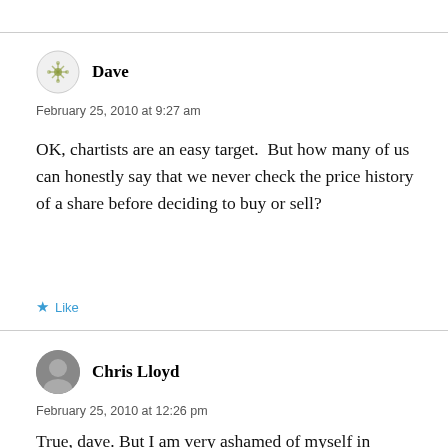Dave
February 25, 2010 at 9:27 am
OK, chartists are an easy target.  But how many of us can honestly say that we never check the price history of a share before deciding to buy or sell?
Like
Chris Lloyd
February 25, 2010 at 12:26 pm
True, dave. But I am very ashamed of myself in